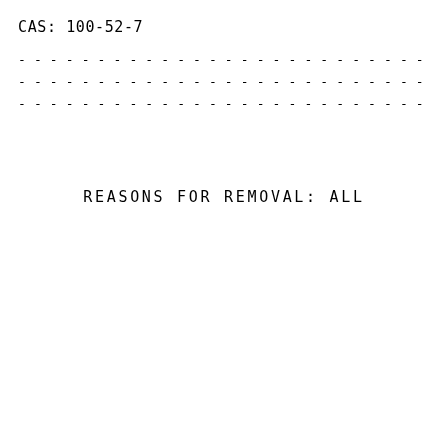CAS: 100-52-7
- - - - - - - - - - - - - - - - - - - - - - - - - - - - - - - - - - - - - - - - - - - - - - - - - - -
- - - - - - - - - - - - - - - - - - - - - - - - - - - - - - - - - - - - - - - - - - - - - - - - - - -
- - - - - - - - - - - - - - - - - - - - - - - - - - - - - - - - - - - - - - - - - - - - - - - - - - -
REASONS FOR REMOVAL:      ALL